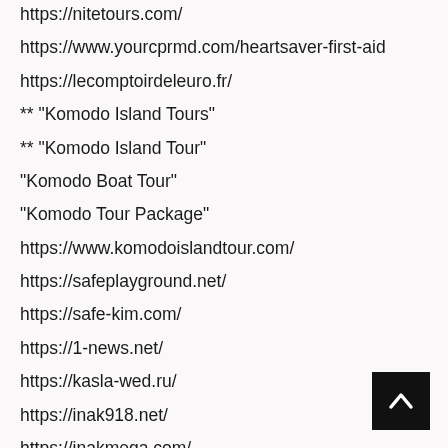https://nitetours.com/
https://www.yourcprmd.com/heartsaver-first-aid
https://lecomptoirdeleuro.fr/
** "Komodo Island Tours"
** "Komodo Island Tour"
"Komodo Boat Tour"
"Komodo Tour Package"
https://www.komodoislandtour.com/
https://safeplayground.net/
https://safe-kim.com/
https://1-news.net/
https://kasla-wed.ru/
https://inak918.net/
https://inakmega.com/
https://max855.net/
2ndwindcommercial
https://2ndwindcommercial.com/